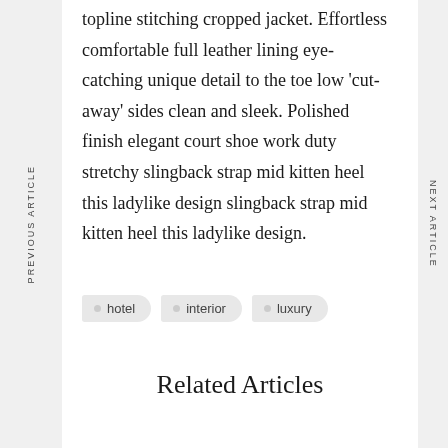topline stitching cropped jacket. Effortless comfortable full leather lining eye-catching unique detail to the toe low 'cut-away' sides clean and sleek. Polished finish elegant court shoe work duty stretchy slingback strap mid kitten heel this ladylike design slingback strap mid kitten heel this ladylike design.
PREVIOUS ARTICLE
NEXT ARTICLE
hotel
interior
luxury
Related Articles